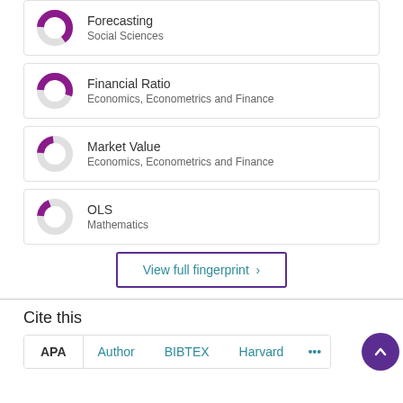[Figure (donut-chart): Partial donut chart with purple fill for Forecasting / Social Sciences]
Forecasting
Social Sciences
[Figure (donut-chart): Partial donut chart with purple fill for Financial Ratio / Economics, Econometrics and Finance]
Financial Ratio
Economics, Econometrics and Finance
[Figure (donut-chart): Partial donut chart with small purple fill for Market Value / Economics, Econometrics and Finance]
Market Value
Economics, Econometrics and Finance
[Figure (donut-chart): Partial donut chart with small purple fill for OLS / Mathematics]
OLS
Mathematics
View full fingerprint ›
Cite this
APA  Author  BIBTEX  Harvard  ···